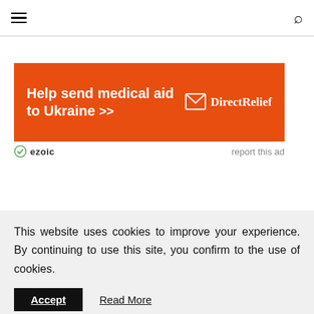≡  🔍
[Figure (other): Orange advertisement banner for Direct Relief — Help send medical aid to Ukraine >>]
ezoic   report this ad
This website uses cookies to improve your experience. By continuing to use this site, you confirm to the use of cookies.
Accept   Read More